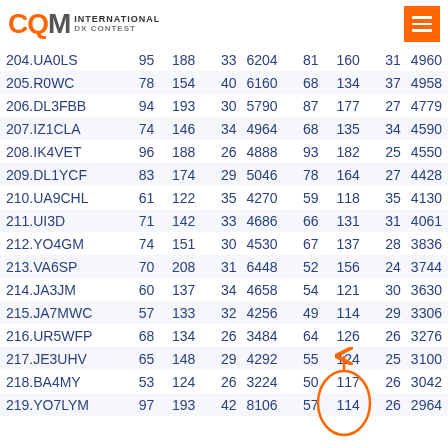CQM INTERNATIONAL DX CONTEST
| #.Call | Col1 | Col2 | Col3 | Col4 | Col5 | Col6 | Col7 | Col8 |
| --- | --- | --- | --- | --- | --- | --- | --- | --- |
| 204.UA0LS | 95 | 188 | 33 | 6204 | 81 | 160 | 31 | 4960 |
| 205.R0WC | 78 | 154 | 40 | 6160 | 68 | 134 | 37 | 4958 |
| 206.DL3FBB | 94 | 193 | 30 | 5790 | 87 | 177 | 27 | 4779 |
| 207.IZ1CLA | 74 | 146 | 34 | 4964 | 68 | 135 | 34 | 4590 |
| 208.IK4VET | 96 | 188 | 26 | 4888 | 93 | 182 | 25 | 4550 |
| 209.DL1YCF | 83 | 174 | 29 | 5046 | 78 | 164 | 27 | 4428 |
| 210.UA9CHL | 61 | 122 | 35 | 4270 | 59 | 118 | 35 | 4130 |
| 211.UI3D | 71 | 142 | 33 | 4686 | 66 | 131 | 31 | 4061 |
| 212.YO4GM | 74 | 151 | 30 | 4530 | 67 | 137 | 28 | 3836 |
| 213.VA6SP | 70 | 208 | 31 | 6448 | 52 | 156 | 24 | 3744 |
| 214.JA3JM | 60 | 137 | 34 | 4658 | 54 | 121 | 30 | 3630 |
| 215.JA7MWC | 57 | 133 | 32 | 4256 | 49 | 114 | 29 | 3306 |
| 216.UR5WFP | 68 | 134 | 26 | 3484 | 64 | 126 | 26 | 3276 |
| 217.JE3UHV | 65 | 148 | 29 | 4292 | 55 | 124 | 25 | 3100 |
| 218.BA4MY | 53 | 124 | 26 | 3224 | 50 | 117 | 26 | 3042 |
| 219.YO7LYM | 97 | 193 | 42 | 8106 | 57 | 114 | 26 | 2964 |